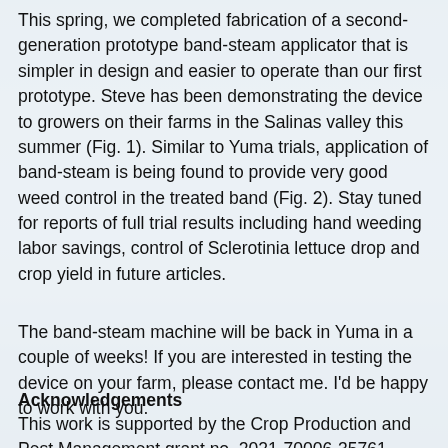This spring, we completed fabrication of a second-generation prototype band-steam applicator that is simpler in design and easier to operate than our first prototype. Steve has been demonstrating the device to growers on their farms in the Salinas valley this summer (Fig. 1). Similar to Yuma trials, application of band-steam is being found to provide very good weed control in the treated band (Fig. 2). Stay tuned for reports of full trial results including hand weeding labor savings, control of Sclerotinia lettuce drop and crop yield in future articles.
The band-steam machine will be back in Yuma in a couple of weeks! If you are interested in testing the device on your farm, please contact me. I'd be happy to work with you.
Acknowledgements
This work is supported by the Crop Production and Pest Management grant no. 2021-70006-35761 /project